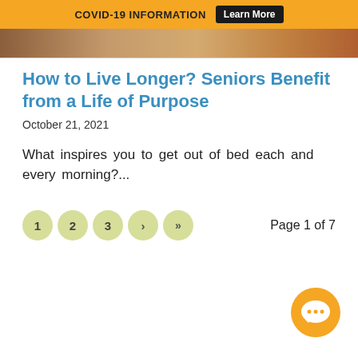COVID-19 INFORMATION  Learn More
[Figure (photo): Top portion of a photo showing warm-toned background, partially visible at top of page]
How to Live Longer? Seniors Benefit from a Life of Purpose
October 21, 2021
What inspires you to get out of bed each and every morning?...
1  2  3  ›  »  Page 1 of 7
[Figure (illustration): Orange circular chat/messaging button icon with three dots, positioned bottom-right]